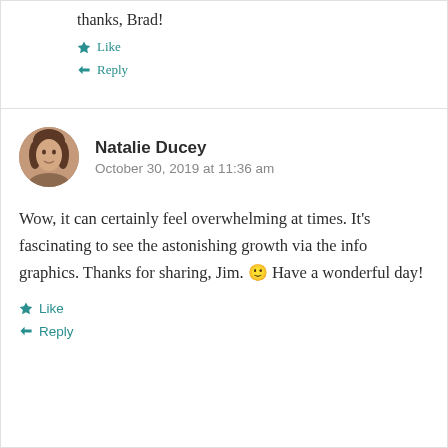thanks, Brad!
Like
Reply
Natalie Ducey
October 30, 2019 at 11:36 am
Wow, it can certainly feel overwhelming at times. It's fascinating to see the astonishing growth via the info graphics. Thanks for sharing, Jim. 🙂 Have a wonderful day!
Like
Reply